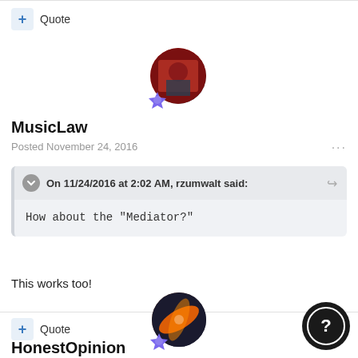+ Quote
[Figure (photo): Avatar of MusicLaw user with badge]
MusicLaw
Posted November 24, 2016
On 11/24/2016 at 2:02 AM, rzumwalt said: How about the "Mediator?"
This works too!
+ Quote
[Figure (photo): Avatar of HonestOpinion user with badge]
HonestOpinion